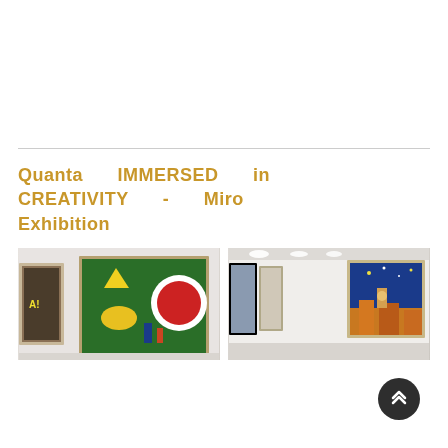Quanta IMMERSED in CREATIVITY - Miro Exhibition
[Figure (photo): Gallery interior with colorful paintings including a green and red abstract Miro-style artwork with a white circle]
[Figure (photo): Gallery corridor with framed paintings on white walls under track lighting, including a blue night sky cityscape painting]